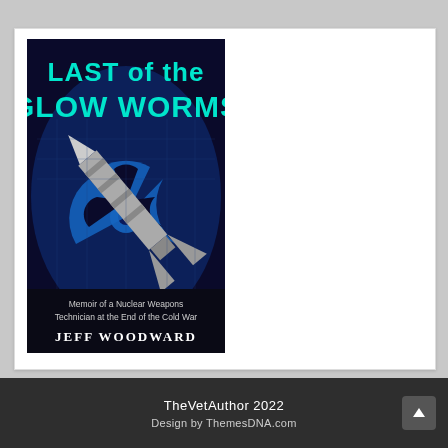[Figure (illustration): Book cover of 'Last of the Glow Worms' by Jeff Woodward. Dark blue background with a world map and radioactive hazard symbol. A missile/nuclear weapon is depicted diagonally. Title text in large cyan letters reads 'LAST of the GLOW WORMS'. Subtitle: 'Memoir of a Nuclear Weapons Technician at the End of the Cold War'. Author: Jeff Woodward.]
TheVetAuthor 2022
Design by ThemesDNA.com